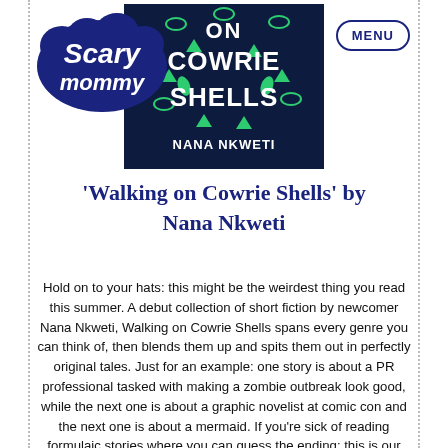[Figure (logo): Scary Mommy logo in dark navy blue with cursive/bubble lettering on a cloud-like shape]
[Figure (photo): Book cover of 'Walking on Cowrie Shells' by Nana Nkweti — dark navy background with green decorative shapes (cowrie shells, triangles, leaf-like forms) and white bold text reading 'ON COWRIE SHELLS' and 'NANA NKWETI' at the bottom]
MENU
'Walking on Cowrie Shells' by Nana Nkweti
Hold on to your hats: this might be the weirdest thing you read this summer. A debut collection of short fiction by newcomer Nana Nkweti, Walking on Cowrie Shells spans every genre you can think of, then blends them up and spits them out in perfectly original tales. Just for an example: one story is about a PR professional tasked with making a zombie outbreak look good, while the next one is about a graphic novelist at comic con and the next one is about a mermaid. If you're sick of reading formulaic stories where you can guess the ending: this is our pick for you. Release Date: June 1 2021